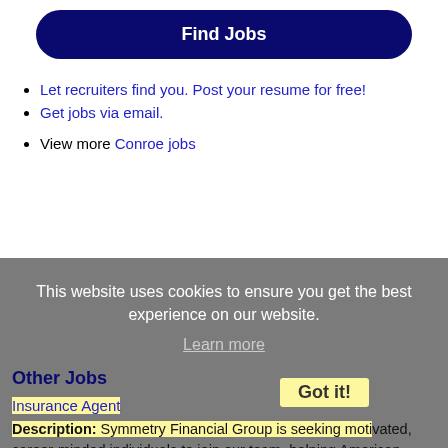Find Jobs
Let recruiters find you. Post your resume for free!
Get jobs via email.
View more Conroe jobs
This website uses cookies to ensure you get the best experience on our website.
Learn more
Other Jobs
Insurance Agent
Description: Symmetry Financial Group is seeking motivated, career-minded individuals to join our team, helping American families protect their families. We are currently looking for representatives ranging from entry (more...)